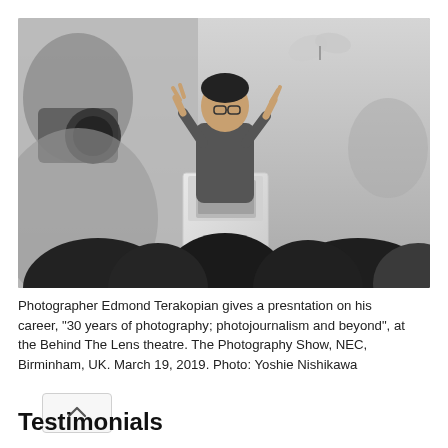[Figure (photo): A photographer Edmond Terakopian speaks at a podium/lectern on stage at The Photography Show, with a large backdrop showing a person with a camera and a butterfly. An audience is visible in the foreground from behind.]
Photographer Edmond Terakopian gives a presntation on his career, "30 years of photography; photojournalism and beyond", at the Behind The Lens theatre. The Photography Show, NEC, Birminham, UK. March 19, 2019. Photo: Yoshie Nishikawa
Testimonials